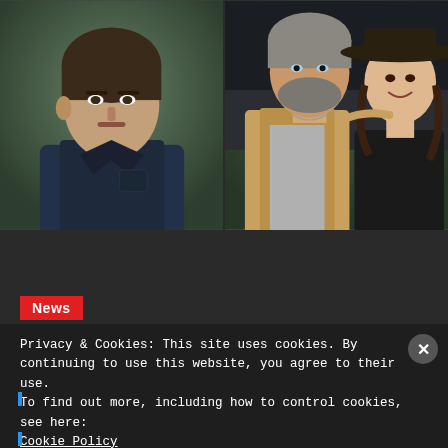[Figure (photo): Two side-by-side photos: left shows a man in dark blue shirt (likely an actor), right shows a bearded man with a woman wearing a wide-brim hat outdoors.]
News
Privacy & Cookies: This site uses cookies. By continuing to use this website, you agree to their use.
To find out more, including how to control cookies, see here:
Cookie Policy
Close and accept